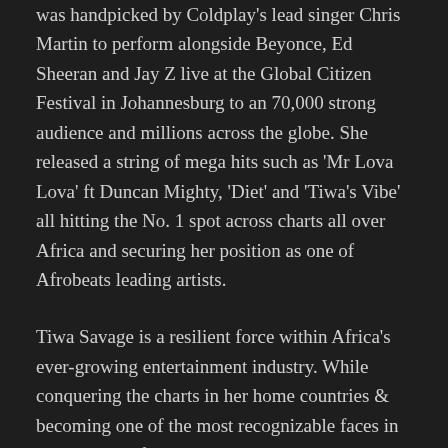was handpicked by Coldplay's lead singer Chris Martin to perform alongside Beyonce, Ed Sheeran and Jay Z live at the Global Citizen Festival in Johannesburg to an 70,000 strong audience and millions across the globe. She released a string of mega hits such as 'Mr Lova Lova' ft Duncan Mighty, 'Diet' and 'Tiwa's Vibe' all hitting the No. 1 spot across charts all over Africa and securing her position as one of Afrobeats leading artists.
Tiwa Savage is a resilient force within Africa's ever-growing entertainment industry. While conquering the charts in her home countries & becoming one of the most recognizable faces in the popular Afrobeats scene, she has also managed to carve a career as a reputable songwriter for some of today's biggest and most successful musicians; all while balancing new roles as a wife and more recently, a mother.
Named one of the world's top 100 inspirational women in fashion for US style bible Vogue magazine, Tiwa was born in Lagos, Nigeria where she lived until